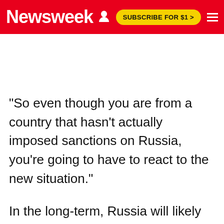Newsweek | SUBSCRIBE FOR $1 >
"So even though you are from a country that hasn't actually imposed sanctions on Russia, you're going to have to react to the new situation."
In the long-term, Russia will likely face higher borrowing rates because having faced a default it would be a less reliable partner on the market.